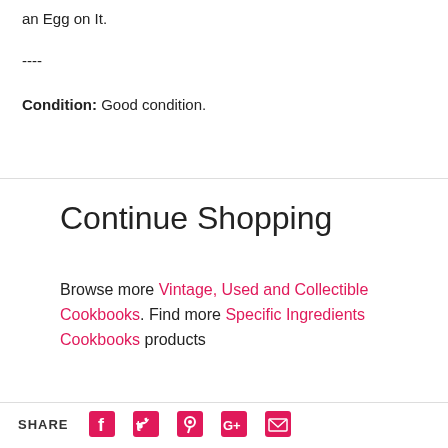an Egg on It.
----
Condition: Good condition.
Continue Shopping
Browse more Vintage, Used and Collectible Cookbooks. Find more Specific Ingredients Cookbooks products
SHARE [facebook] [twitter] [pinterest] [google+] [email]